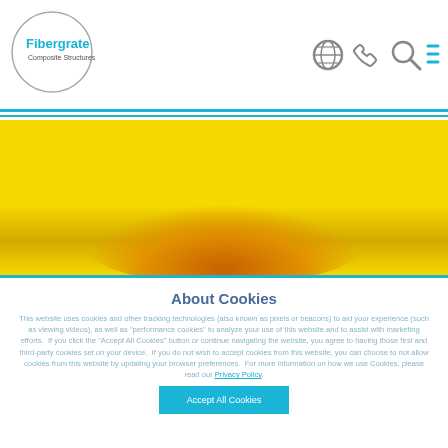Fibergrate Composite Structures — website header with logo and navigation icons
[Figure (photo): Yellow abstract background band with orange gradient glow at center bottom]
About Cookies
This website uses cookies and other tracking technologies (also known as pixels or beacons) to aid your experience (such as viewing videos), as well as "performance cookies" to analyze your use of this website and to assist with marketing efforts. If you click the "Accept All Cookies" button or continue navigating the website, you agree to having those first and third-party cookies set on your device. If you do not wish to accept cookies from this website, you can choose to not allow cookies from this website by updating your browser preferences. For more information on how we use Cookies, please read our Privacy Policy.